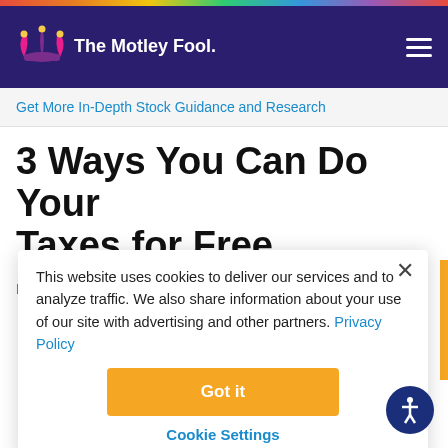The Motley Fool
Get More In-Depth Stock Guidance and Research
3 Ways You Can Do Your Taxes for Free
By Daniel B. Kline - Mar 14, 2017 at 8:46AM
This website uses cookies to deliver our services and to analyze traffic. We also share information about your use of our site with advertising and other partners. Privacy Policy
Got it
Cookie Settings